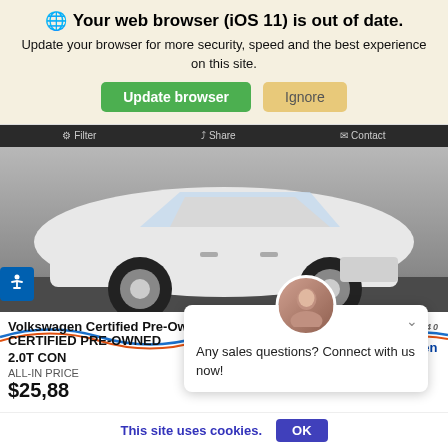Your web browser (iOS 11) is out of date.
Update your browser for more security, speed and the best experience on this site.
Update browser   Ignore
[Figure (photo): Screenshot of a Volkswagen dealer webpage showing a white Volkswagen Tiguan SUV, with browser update banner, Lauria Volkswagen dealer logo, Certified Pre-Owned badge, vehicle title, price, chat popup, and cookie notice.]
Volkswagen Certified Pre-Owned
CERTIFIED PRE-OWNED VOLKSWAGEN TIGUAN 2.0T CON
ALL-IN PRICE
$25,88
Any sales questions? Connect with us now!
This site uses cookies.
OK